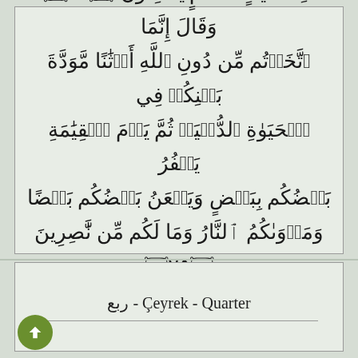ذَٰلِكَ لَاٰيَٰتٍ لِّقَوۡمٍ يُؤۡمِنُونَ ﴿٢٤﴾ وَقَالَ إِنَّمَا اتَّخَذۡتُم مِّن دُونِ اللَّهِ أَوۡثَٰنًا مَّوَدَّةَ بَيۡنِكُمۡ فِي الۡحَيَوٰةِ الدُّنۡيَاۖ ثُمَّ يَوۡمَ الۡقِيَٰمَةِ يَكۡفُرُ بَعۡضُكُم بِبَعۡضٍ وَيَلۡعَنُ بَعۡضُكُم بَعۡضًا وَمَأۡوَىٰكُمُ النَّارُ وَمَا لَكُم مِّن نَّٰصِرِينَ ﴿٢٥﴾
Çeyrek - Quarter - ربع